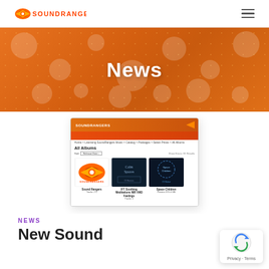SOUNDRANGERS
[Figure (screenshot): Orange textured hero banner with the word 'News' centered in white bold text]
[Figure (screenshot): Screenshot of SoundRangers website showing 'All Albums' page with album grid including Sound Rangers, Calm Spaces, and Space Children entries]
NEWS
New Sound